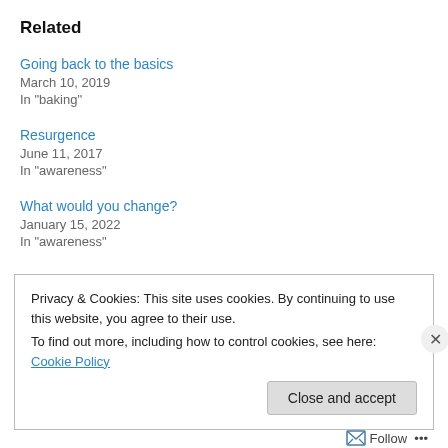Related
Going back to the basics
March 10, 2019
In "baking"
Resurgence
June 11, 2017
In "awareness"
What would you change?
January 15, 2022
In "awareness"
Privacy & Cookies: This site uses cookies. By continuing to use this website, you agree to their use.
To find out more, including how to control cookies, see here: Cookie Policy
Close and accept
Follow